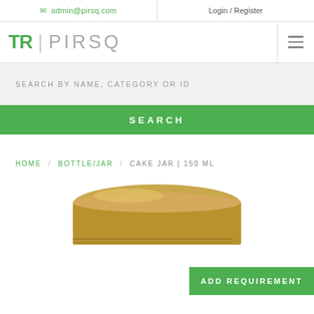✉ admin@pirsq.com   Login / Register
[Figure (logo): TR | PIRSQ logo with green TR letters and gray PIRSQ text, hamburger menu icon on right]
SEARCH BY NAME, CATEGORY OR ID
SEARCH
HOME / BOTTLE/JAR / CAKE JAR | 150 ML
[Figure (photo): Gold/metallic lid of a cake jar, partially visible at bottom of page, with ADD REQUIREMENT green button overlay]
ADD REQUIREMENT